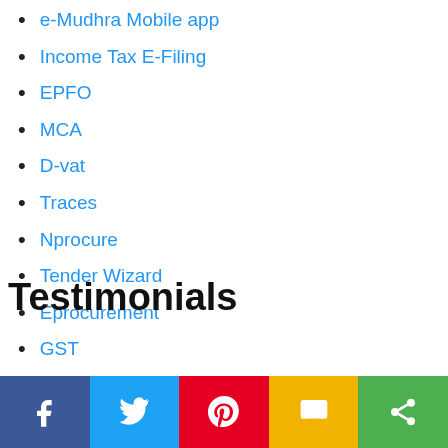e-Mudhra Mobile app
Income Tax E-Filing
EPFO
MCA
D-vat
Traces
Nprocure
Tender Wizard
Eprocurement
GST
Testimonials
[Figure (infographic): Social sharing bar with Facebook, Twitter, Pinterest, SMS, and Share buttons]